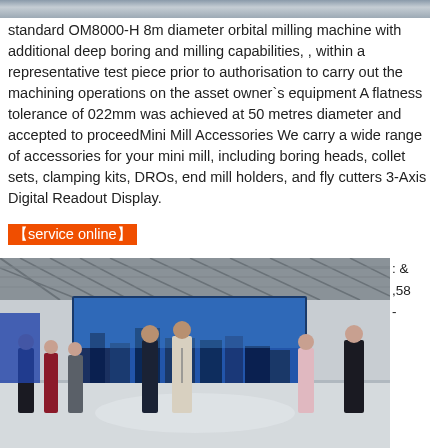[Figure (photo): Partial view of machinery or industrial equipment, cropped at top of page]
standard OM8000-H 8m diameter orbital milling machine with additional deep boring and milling capabilities, , within a representative test piece prior to authorisation to carry out the machining operations on the asset owner`s equipment A flatness tolerance of 022mm was achieved at 50 metres diameter and accepted to proceedMini Mill Accessories We carry a wide range of accessories for your mini mill, including boring heads, collet sets, clamping kits, DROs, end mill holders, and fly cutters 3-Axis Digital Readout Display.
【service online】
[Figure (photo): Event photo at an industrial exhibition or trade show. Several people in formal attire standing on a stage in front of a large LED screen showing a city skyline. The venue has a distinctive lattice ceiling structure.]
: &
,58
-